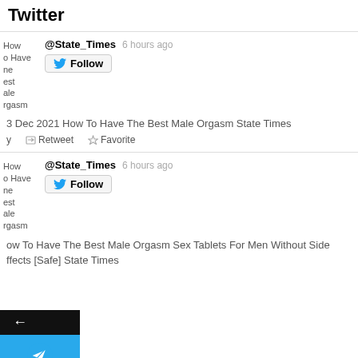Twitter
@State_Times  6 hours ago
How To Have The Best Male Orgasm
3 Dec 2021 How To Have The Best Male Orgasm State Times
Reply  Retweet  Favorite
@State_Times  6 hours ago
How To Have The Best Male Orgasm
How To Have The Best Male Orgasm Sex Tablets For Men Without Side Effects [Safe] State Times